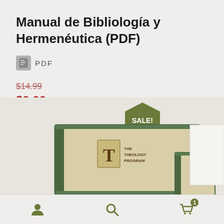Manual de Bibliología y Hermenéutica (PDF)
PDF
$14.99
$0.00
Add to cart
[Figure (photo): Product image showing theology program books/boxes with a green SALE! badge in the upper center. The books appear to be 'The Theology Program' series with cream and green covers.]
Navigation bar with user icon, search icon, and cart icon with badge showing 1 item